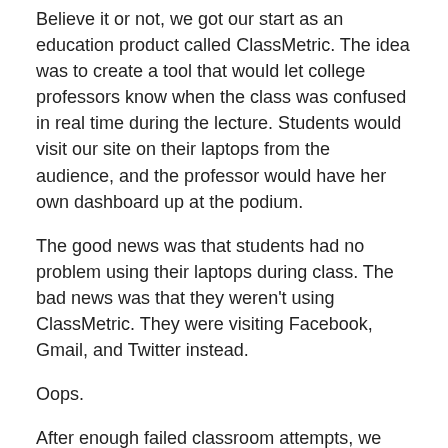Believe it or not, we got our start as an education product called ClassMetric. The idea was to create a tool that would let college professors know when the class was confused in real time during the lecture. Students would visit our site on their laptops from the audience, and the professor would have her own dashboard up at the podium.
The good news was that students had no problem using their laptops during class. The bad news was that they weren't using ClassMetric. They were visiting Facebook, Gmail, and Twitter instead.
Oops.
After enough failed classroom attempts, we decided to switch gears. We clearly weren't nailing the market, so it was time to try something new. After some brainstorming, we settled on building a new, better analytics product.
We went through a bunch of iterations, everything from segmenting groups of people in every possible way to visualizing where users were dropping off of conversion funnels. The problem